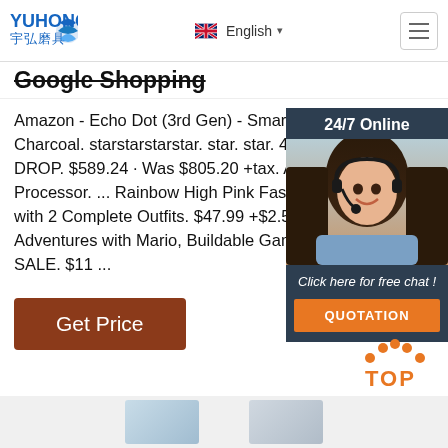YUHONG 宇弘磨具 | English | Menu
Google Shopping
Amazon - Echo Dot (3rd Gen) - Smart Speak - Charcoal. starstarstarstar. star. star. 48,696 DROP. $589.24 · Was $805.20 +tax. AMD Ry Processor. ... Rainbow High Pink Fashion Dc with 2 Complete Outfits. $47.99 +$2.54 est. t Adventures with Mario, Buildable Game, Sta SALE. $11 ...
[Figure (screenshot): Get Price button - brown/rust colored rectangular button with white text]
[Figure (screenshot): 24/7 Online chat widget with customer service representative photo, 'Click here for free chat!' text, and orange QUOTATION button]
[Figure (illustration): Orange dotted arc with TOP text below in orange - back to top button]
[Figure (photo): Bottom product thumbnail previews]